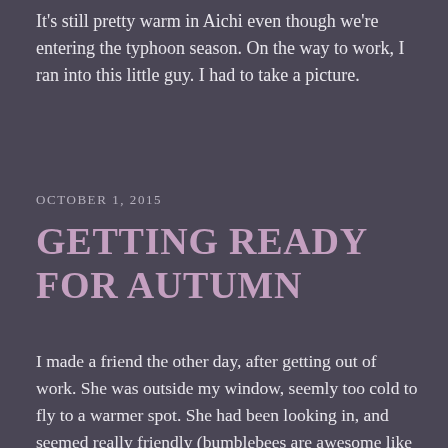It's still pretty warm in Aichi even though we're entering the typhoon season. On the way to work, I ran into this little guy. I had to take a picture.
OCTOBER 1, 2015
GETTING READY FOR AUTUMN
I made a friend the other day, after getting out of work. She was outside my window, seemly too cold to fly to a warmer spot. She had been looking in, and seemed really friendly (bumblebees are awesome like that), so I scooped her up and relocated her to a bush next to the building's [...]